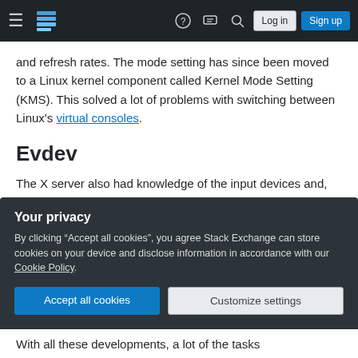Stack Exchange navigation bar with hamburger menu, logo, help, chat, search icons, Log in and Sign up buttons
and refresh rates. The mode setting has since been moved to a Linux kernel component called Kernel Mode Setting (KMS). This solved a lot of problems with switching between Linux's virtual consoles.
Evdev
The X server also had knowledge of the input devices and, for example, the type of mouse had to be specified in the X configuration. The X server has
Your privacy
By clicking “Accept all cookies”, you agree Stack Exchange can store cookies on your device and disclose information in accordance with our Cookie Policy.
Accept all cookies
Customize settings
With all these developments, a lot of the tasks